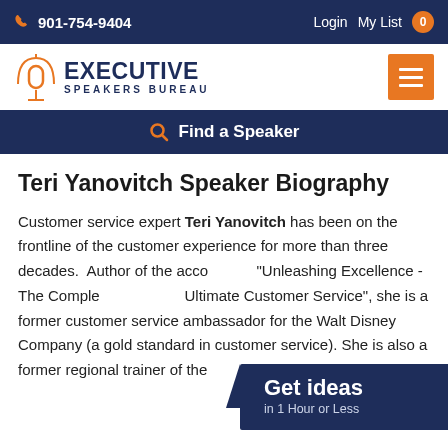901-754-9404  Login  My List 0
[Figure (logo): Executive Speakers Bureau logo with microphone icon and orange arc]
Find a Speaker
Teri Yanovitch Speaker Biography
Customer service expert Teri Yanovitch has been on the frontline of the customer experience for more than three decades. Author of the acclaimed "Unleashing Excellence - The Complete Toolkit for Ultimate Customer Service", she is a former customer service ambassador for the Walt Disney Company (a gold standard in customer service). She is also a former regional trainer of the
Get ideas in 1 Hour or Less